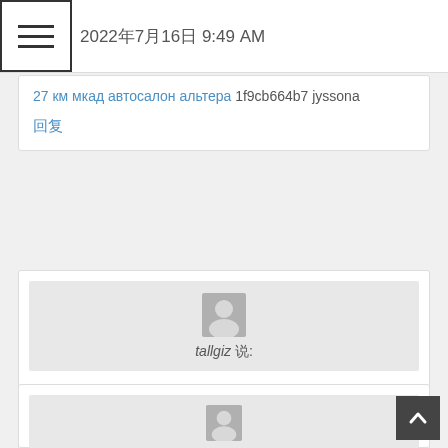2022年7月16日 9:49 AM
27 км мкад автосалон альтера 1f9cb664b7 jyssona
回复
tallgiz 说:
2022年7月19日 7:09 AM
аренда манипулятора 3 тонны 01f5b984f2 tallgiz
回复
biloofr 说: